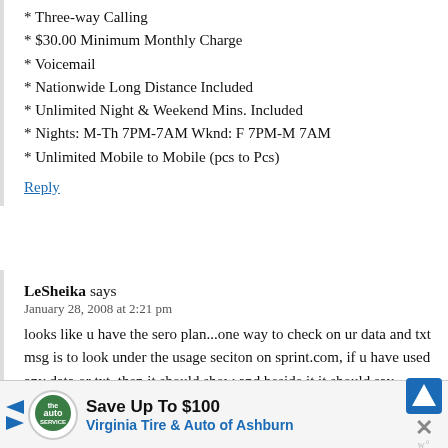* Three-way Calling
* $30.00 Minimum Monthly Charge
* Voicemail
* Nationwide Long Distance Included
* Unlimited Night & Weekend Mins. Included
* Nights: M-Th 7PM-7AM Wknd: F 7PM-M 7AM
* Unlimited Mobile to Mobile (pcs to Pcs)
Reply
LeSheika says
January 28, 2008 at 2:21 pm
looks like u have the sero plan...one way to check on ur data and txt msg is to look under the usage seciton on sprint.com, if u have used any data or txt, then it should show and beside it it should say "unlimited" data and even if this
[Figure (infographic): Advertisement bar: Save Up To $100 Virginia Tire & Auto of Ashburn, with logo and navigation icon]